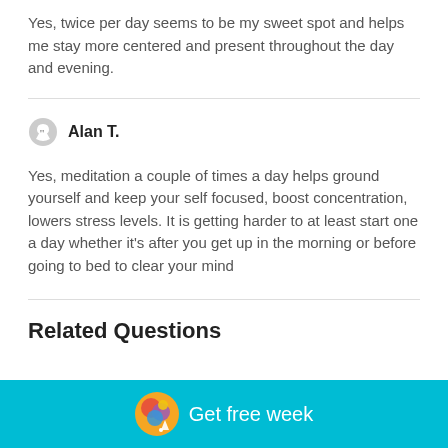Yes, twice per day seems to be my sweet spot and helps me stay more centered and present throughout the day and evening.
Alan T.
Yes, meditation a couple of times a day helps ground yourself and keep your self focused, boost concentration, lowers stress levels. It is getting harder to at least start one a day whether it’s after you get up in the morning or before going to bed to clear your mind
Related Questions
[Figure (logo): App icon with colorful spheres and a cursor, with teal background and 'Get free week' text]